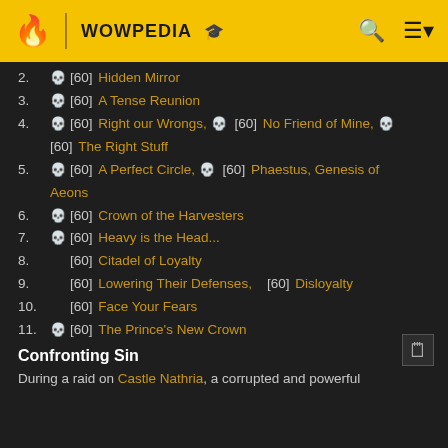WOWPEDIA
2. [60] Hidden Mirror
3. [60] A Tense Reunion
4. [60] Right our Wrongs, [60] No Friend of Mine, [60] The Right Stuff
5. [60] A Perfect Circle, [60] Phaestus, Genesis of Aeons
6. [60] Crown of the Harvesters
7. [60] Heavy is the Head...
8. [60] Citadel of Loyalty
9. [60] Lowering Their Defenses, [60] Disloyalty
10. [60] Face Your Fears
11. [60] The Prince's New Crown
Confronting Sin
During a raid on Castle Nathria, a corrupted and powerful